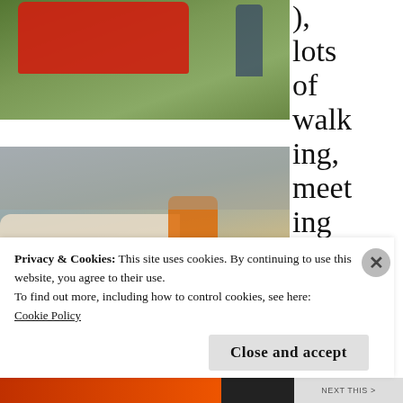[Figure (photo): Top photo showing a red classic car on grass at a car show, person crouching nearby]
), lots of walking, meeting awesome new swe
[Figure (photo): Bottom photo showing a woman in orange shirt standing next to a cream classic car with a portrait painted on the hood, blue car visible on right, crowd in background]
Privacy & Cookies: This site uses cookies. By continuing to use this website, you agree to their use.
To find out more, including how to control cookies, see here:
Cookie Policy
Close and accept